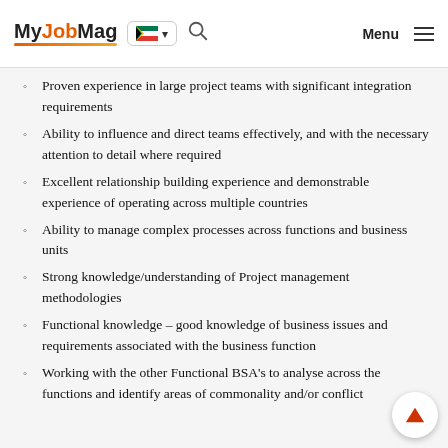MyJobMag [South Africa flag] [search] Menu
Proven experience in large project teams with significant integration requirements
Ability to influence and direct teams effectively, and with the necessary attention to detail where required
Excellent relationship building experience and demonstrable experience of operating across multiple countries
Ability to manage complex processes across functions and business units
Strong knowledge/understanding of Project management methodologies
Functional knowledge – good knowledge of business issues and requirements associated with the business function
Working with the other Functional BSA's to analyse across the functions and identify areas of commonality and/or conflict